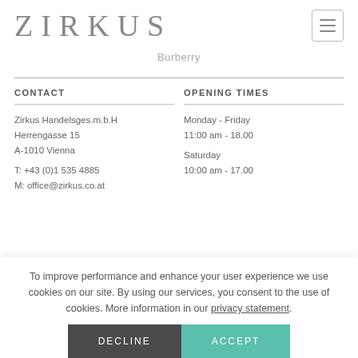ZIRKUS
Burberry
CONTACT
Zirkus Handelsges.m.b.H
Herrengasse 15
A-1010 Vienna

T: +43 (0)1 535 4885
M: office@zirkus.co.at
OPENING TIMES
Monday - Friday
11:00 am - 18.00

Saturday
10:00 am - 17.00
To improve performance and enhance your user experience we use cookies on our site. By using our services, you consent to the use of cookies. More information in our privacy statement.